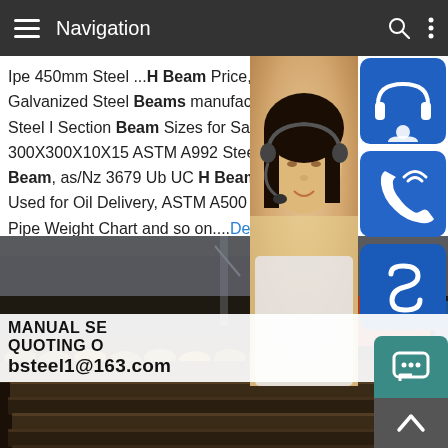Navigation
Ipe 450mm Steel ...H Beam Price, S275jr Galvanized Steel Beams manufacturer / s Steel I Section Beam Sizes for Sale Ipe 45 300X300X10X15 ASTM A992 Steel 100X5 Beam, as/Nz 3679 Ub UC H Beam, Roun Used for Oil Delivery, ASTM A500 Gr. B P Pipe Weight Chart and so on....Detailed
[Figure (photo): Woman customer service representative wearing headset, with contact icons (headset, phone, Skype) on blue rounded square buttons to the right]
[Figure (photo): Steel pipes bundled together at an industrial yard with shipping containers in background]
MANUAL SE QUOTING O bsteel1@163.com
[Figure (photo): Stack of dark steel plates at an industrial warehouse]